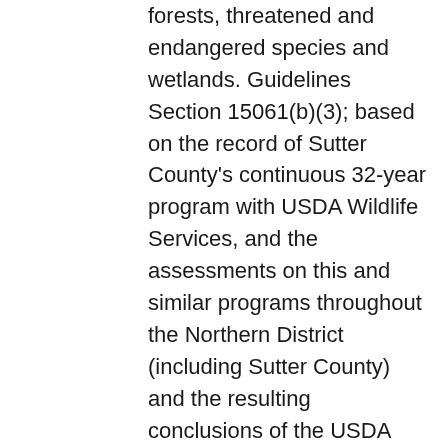forests, threatened and endangered species and wetlands. Guidelines Section 15061(b)(3); based on the record of Sutter County's continuous 32-year program with USDA Wildlife Services, and the assessments on this and similar programs throughout the Northern District (including Sutter County) and the resulting conclusions of the USDA Wildlife Services, US Department of Fish and Wildlife and California Department of Fish and Wildlife, it can be seen with certainty that continuation of the program, if